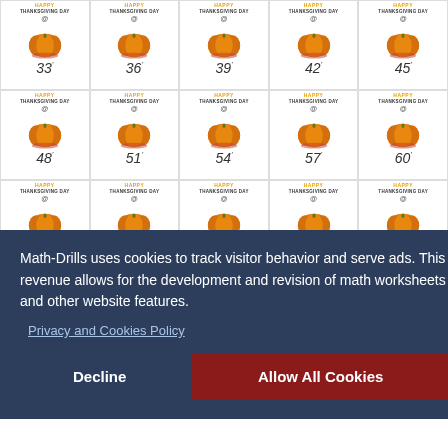[Figure (illustration): A 5x3 grid of 'Happy Thanksgiving Day' pumpkin clipart cards, each with a number: 33, 36, 39, 42, 45, 48, 51, 54, 57, 60, and three more partially visible in row 3. Each card shows 'HAPPY THANKSGIVING DAY' text with an '@' symbol and a pumpkin image, followed by the number with an apostrophe superscript.]
Math-Drills uses cookies to track visitor behavior and serve ads. This revenue allows for the development and revision of math worksheets and other website features.
Privacy and Cookies Policy
Decline
Allow All Cookies
e 2